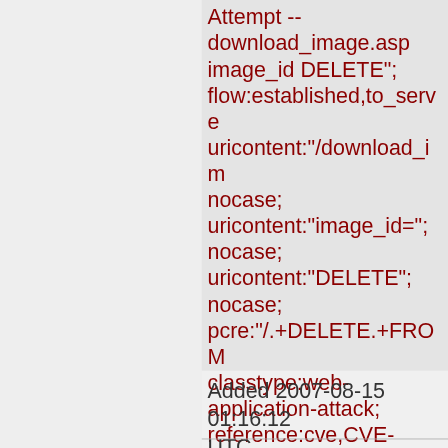Attempt -- download_image.asp image_id DELETE"; flow:established,to_server; uricontent:"/download_im nocase; uricontent:"image_id="; nocase; uricontent:"DELETE"; nocase; pcre:"/.+DELETE.+FROM classtype:web-application-attack; reference:cve,CVE-2006-6187; reference:url,www.securit sid:2007244; rev:1;)
Added 2007-08-15 01:16:12 UTC